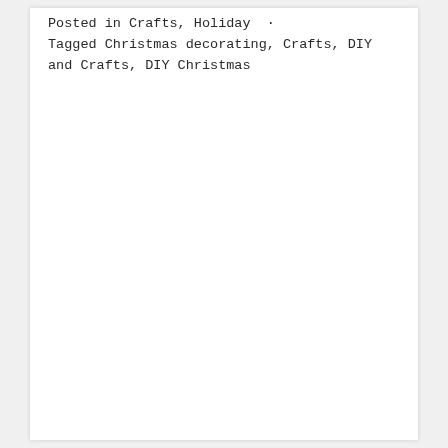Posted in Crafts, Holiday  ·
Tagged Christmas decorating, Crafts, DIY and Crafts, DIY Christmas